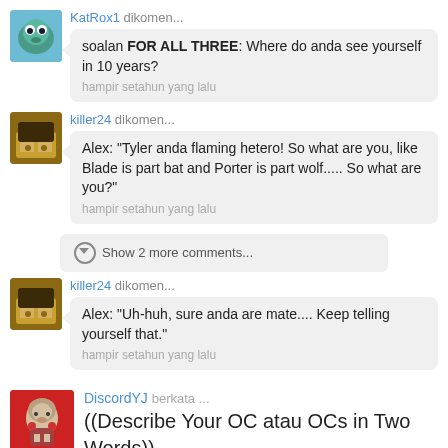KatRox1 dikomen... soalan FOR ALL THREE: Where do anda see yourself in 10 years? hampir setahun yang lalu
killer24 dikomen... Alex: "Tyler anda flaming hetero! So what are you, like Blade is part bat and Porter is part wolf..... So what are you?" hampir setahun yang lalu
Show 2 more comments...
killer24 dikomen... Alex: "Uh-huh, sure anda are mate.... Keep telling yourself that." hampir setahun yang lalu
DiscordYJ berkata ... ((Describe Your OC atau OCs in Two Words))